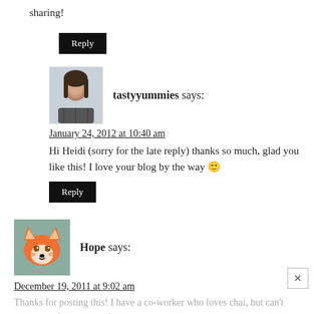sharing!
Reply
tastyyummies says:
January 24, 2012 at 10:40 am
Hi Heidi (sorry for the late reply) thanks so much, glad you like this! I love your blog by the way 🙂
Reply
Hope says:
December 19, 2011 at 9:02 am
Thanks for posting this! I have a co-worker who loves chai, but can't stand how fakey most of them taste. I'm hoping